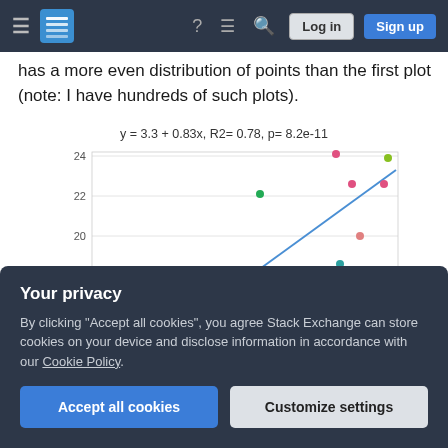Stack Exchange navigation bar with hamburger menu, logo, help, chat, search, Log in, Sign up
has a more even distribution of points than the first plot (note: I have hundreds of such plots).
[Figure (continuous-plot): Scatter plot with regression line. Title: y = 3.3 + 0.83x, R2= 0.78, p= 8.2e-11. Y-axis labeled 'y' with values 12-24. Colored dots scattered around a blue regression line trending upward.]
Your privacy
By clicking "Accept all cookies", you agree Stack Exchange can store cookies on your device and disclose information in accordance with our Cookie Policy.
Accept all cookies | Customize settings